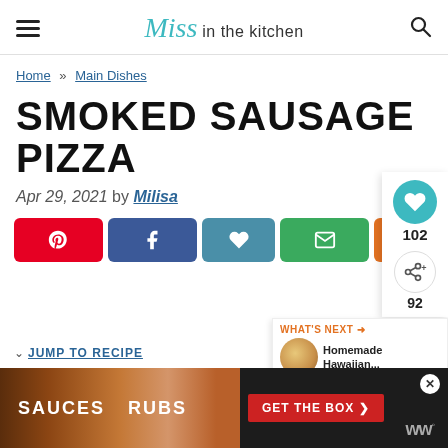Miss in the kitchen
Home » Main Dishes
SMOKED SAUSAGE PIZZA
Apr 29, 2021 by Milisa
[Figure (other): Social share buttons: Pinterest, Facebook, Heart/Save, Email, Yummly]
[Figure (other): Floating sidebar with heart/favorite count (102) and share count (92)]
[Figure (other): What's Next panel showing Homemade Hawaiian... with thumbnail]
JUMP TO RECIPE
[Figure (other): Advertisement banner: SAUCES RUBS GET THE BOX with food imagery]